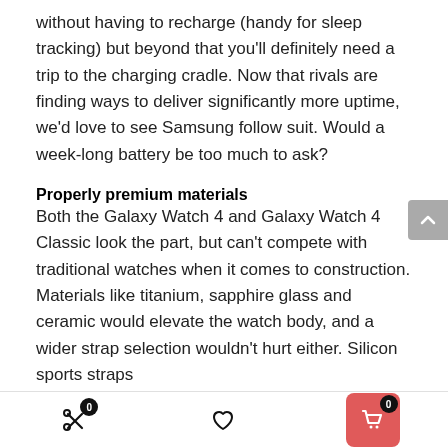without having to recharge (handy for sleep tracking) but beyond that you'll definitely need a trip to the charging cradle. Now that rivals are finding ways to deliver significantly more uptime, we'd love to see Samsung follow suit. Would a week-long battery be too much to ask?
Properly premium materials
Both the Galaxy Watch 4 and Galaxy Watch 4 Classic look the part, but can't compete with traditional watches when it comes to construction. Materials like titanium, sapphire glass and ceramic would elevate the watch body, and a wider strap selection wouldn't hurt either. Silicon sports straps